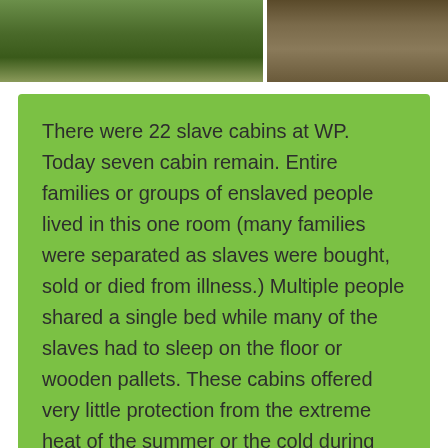[Figure (photo): Two photos side by side: left shows a garden or plantation with green banana-like plants and grass; right shows a wooden deck or porch with objects on it.]
There were 22 slave cabins at WP. Today seven cabin remain. Entire families or groups of enslaved people lived in this one room (many families were separated as slaves were bought, sold or died from illness.) Multiple people shared a single bed while many of the slaves had to sleep on the floor or wooden pallets. These cabins offered very little protection from the extreme heat of the summer or the cold during the winter months.
The typical workday was from sunrise to